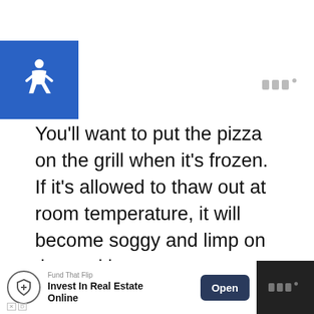[Figure (illustration): Accessibility wheelchair icon on blue square background, top-left corner]
[Figure (logo): Small gray watermark logo top-right]
You’ll want to put the pizza on the grill when it’s frozen. If it’s allowed to thaw out at room temperature, it will become soggy and limp on the cooking grates.
When cooking a thawed froz… pizza, use a pizza stone. It will
[Figure (illustration): Orange circular like/heart button with count 11 and share button below]
[Figure (infographic): What's Next panel with circular food thumbnail and text: How To Cook Frozen...]
[Figure (infographic): Bottom advertisement bar: Fund That Flip - Invest In Real Estate Online with Open button]